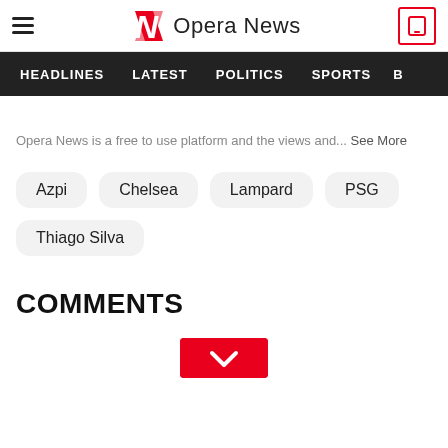Opera News
HEADLINES
LATEST
POLITICS
SPORTS
Opera News is a free to use platform and the views and... See More
Azpi
Chelsea
Lampard
PSG
Thiago Silva
COMMENTS